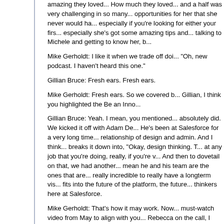amazing they loved... How much they loved... and a half was very challenging in so many... opportunities for her that she never would ha... especially if you're looking for either your firs... especially she's got some amazing tips and... talking to Michele and getting to know her, b...
Mike Gerholdt: I like it when we trade off doi... "Oh, new podcast. I haven't heard this one."
Gillian Bruce: Fresh ears. Fresh ears.
Mike Gerholdt: Fresh ears. So we covered b... Gillian, I think you highlighted the Be an Inno...
Gillian Bruce: Yeah. I mean, you mentioned... absolutely did. We kicked it off with Adam De... He's been at Salesforce for a very long time... relationship of design and admin. And I think... breaks it down into, "Okay, design thinking. T... at any job that you're doing, really, if you're v... And then to dovetail on that, we had another... mean he and his team are the ones that are... really incredible to really have a longterm vis... fits into the future of the platform, the future... thinkers here at Salesforce.
Mike Gerholdt: That's how it may work. Now... must-watch video from May to align with you... Rebecca on the call, I think they're just ama... you and you kind of... They're a little fun. Th...
Gillian Bruce: Yeah, and you get to see Reb...
Mike Gerholdt: Right. So Rebecca, when yo... overlooking or a fun trip up? Did you knock a...
Rebecca Saar: Not exactly that, but yes, we... challenge you to find them. I'll give you a h...